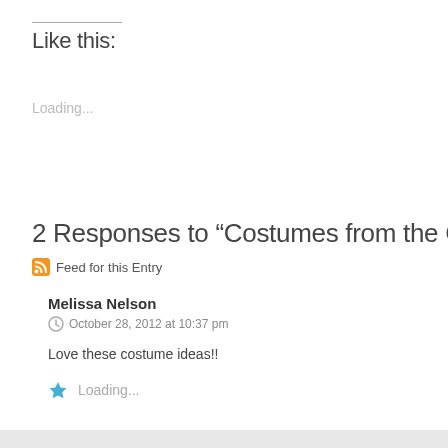Like this:
Loading...
2 Responses to “Costumes from the Collec
Feed for this Entry
Melissa Nelson
October 28, 2012 at 10:37 pm
Love these costume ideas!!
Loading...